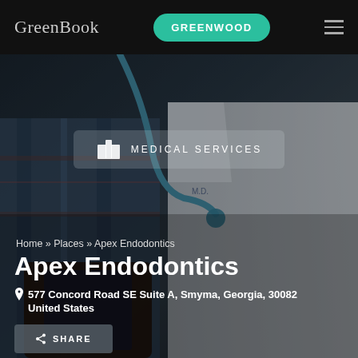GreenBook | GREENWOOD
[Figure (photo): Dark background photo of a doctor/medical professional wearing a white coat with a stethoscope, holding a smartphone]
MEDICAL SERVICES
Home » Places » Apex Endodontics
Apex Endodontics
577 Concord Road SE Suite A, Smyma, Georgia, 30082 United States
SHARE